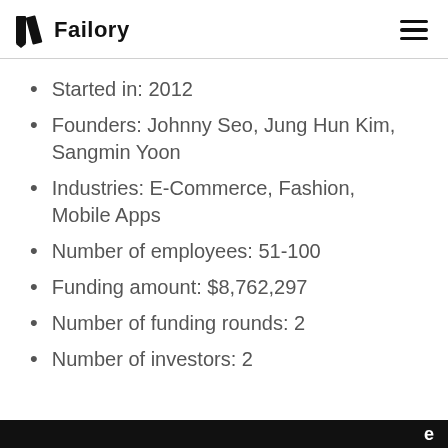Failory
Started in: 2012
Founders: Johnny Seo, Jung Hun Kim, Sangmin Yoon
Industries: E-Commerce, Fashion, Mobile Apps
Number of employees: 51-100
Funding amount: $8,762,297
Number of funding rounds: 2
Number of investors: 2
e